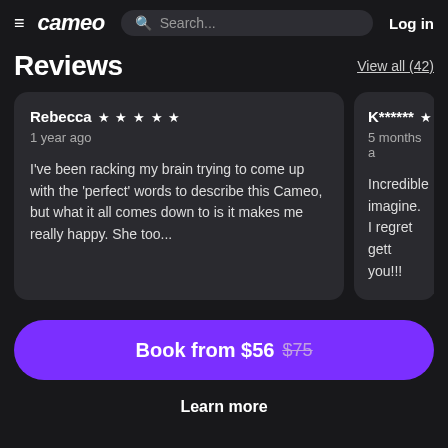≡ cameo  Search...  Log in
Reviews
View all (42)
Rebecca ★★★★★
1 year ago
I've been racking my brain trying to come up with the 'perfect' words to describe this Cameo, but what it all comes down to is it makes me really happy. She too...
K****** ★
5 months a
Incredible imagine. I regret gett you!!!
Book from $56 $75
Learn more